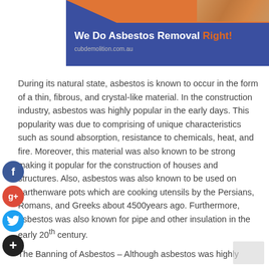[Figure (screenshot): Blue banner advertisement for CUB Demolition asbestos removal service. Text reads 'We Do Asbestos Removal Right!' with orange diagonal accent and URL cubdemolition.com.au]
During its natural state, asbestos is known to occur in the form of a thin, fibrous, and crystal-like material. In the construction industry, asbestos was highly popular in the early days. This popularity was due to comprising of unique characteristics such as sound absorption, resistance to chemicals, heat, and fire. Moreover, this material was also known to be strong making it popular for the construction of houses and structures. Also, asbestos was also known to be used on earthenware pots which are cooking utensils by the Persians, Romans, and Greeks about 4500years ago. Furthermore, asbestos was also known for pipe and other insulation in the early 20th century.
The Banning of Asbestos – Although asbestos was highly